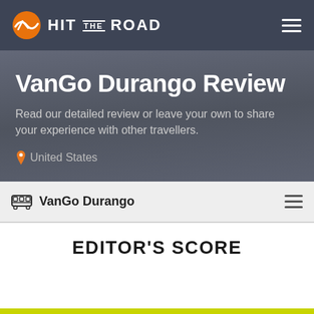HIT THE ROAD
VanGo Durango Review
Read our detailed review or leave your own to share your experience with other travellers.
United States
VanGo Durango
EDITOR'S SCORE